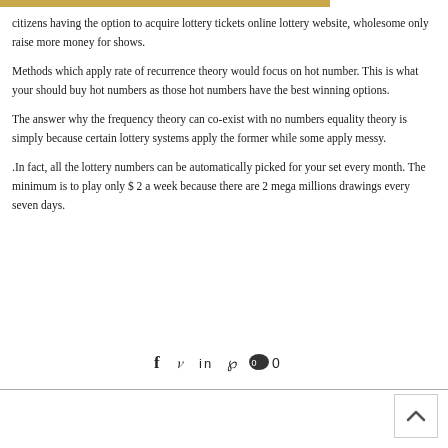citizens having the option to acquire lottery tickets online lottery website, wholesome only raise more money for shows.
Methods which apply rate of recurrence theory would focus on hot number. This is what your should buy hot numbers as those hot numbers have the best winning options.
The answer why the frequency theory can co-exist with no numbers equality theory is simply because certain lottery systems apply the former while some apply messy.
.In fact, all the lottery numbers can be automatically picked for your set every month. The minimum is to play only $ 2 a week because there are 2 mega millions drawings every seven days.
[Figure (other): Social sharing icons: Facebook, Twitter, LinkedIn, Pinterest, comment bubble with 0]
[Figure (other): Back to top arrow button in bottom right corner]